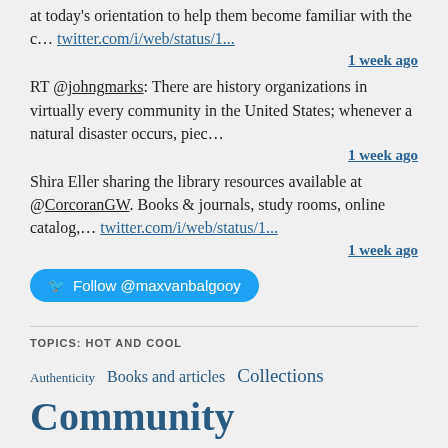at today's orientation to help them become familiar with the c… twitter.com/i/web/status/1...
1 week ago
RT @johngmarks: There are history organizations in virtually every community in the United States; whenever a natural disaster occurs, piec…
1 week ago
Shira Eller sharing the library resources available at @CorcoranGW. Books & journals, study rooms, online catalog,… twitter.com/i/web/status/1...
1 week ago
Follow @maxvanbalgooy
TOPICS: HOT AND COOL
Authenticity  Books and articles  Collections  Community engagement  Cultural diversity  Design  Emotion  Fundraising  Governance and management